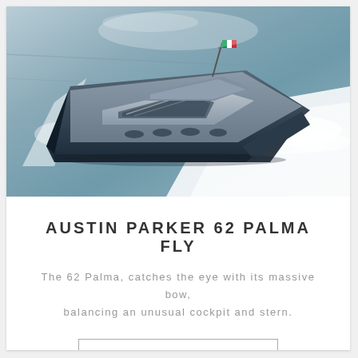[Figure (photo): Aerial view of Austin Parker 62 Palma Fly yacht speeding through open water, creating white wake waves. The yacht is dark colored with a flybridge, Italian flag visible at the top. Photo taken from above at an angle.]
AUSTIN PARKER 62 PALMA FLY
The 62 Palma, catches the eye with its massive bow, balancing an unusual cockpit and stern.
DISCOVER THIS YACHT